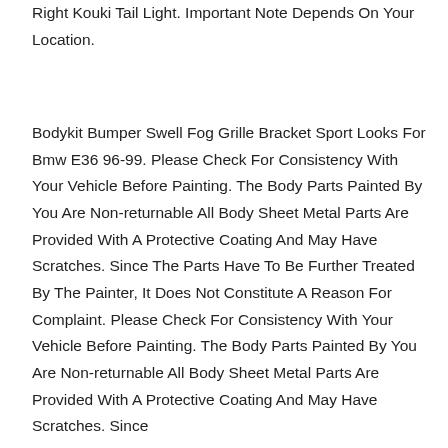Right Kouki Tail Light. Important Note Depends On Your Location.
Bodykit Bumper Swell Fog Grille Bracket Sport Looks For Bmw E36 96-99. Please Check For Consistency With Your Vehicle Before Painting. The Body Parts Painted By You Are Non-returnable All Body Sheet Metal Parts Are Provided With A Protective Coating And May Have Scratches. Since The Parts Have To Be Further Treated By The Painter, It Does Not Constitute A Reason For Complaint. Please Check For Consistency With Your Vehicle Before Painting. The Body Parts Painted By You Are Non-returnable All Body Sheet Metal Parts Are Provided With A Protective Coating And May Have Scratches. Since